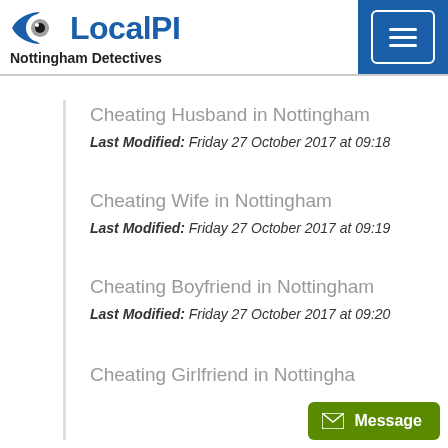LocalPI - Nottingham Detectives
Cheating Husband in Nottingham
Last Modified: Friday 27 October 2017 at 09:18
Cheating Wife in Nottingham
Last Modified: Friday 27 October 2017 at 09:19
Cheating Boyfriend in Nottingham
Last Modified: Friday 27 October 2017 at 09:20
Cheating Girlfriend in Nottingham